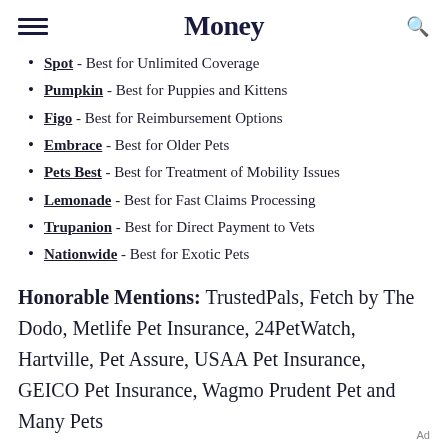Money
Spot - Best for Unlimited Coverage
Pumpkin - Best for Puppies and Kittens
Figo - Best for Reimbursement Options
Embrace - Best for Older Pets
Pets Best - Best for Treatment of Mobility Issues
Lemonade - Best for Fast Claims Processing
Trupanion - Best for Direct Payment to Vets
Nationwide - Best for Exotic Pets
Honorable Mentions: TrustedPals, Fetch by The Dodo, Metlife Pet Insurance, 24PetWatch, Hartville, Pet Assure, USAA Pet Insurance, GEICO Pet Insurance, Wagmo Prudent Pet and Many Pets